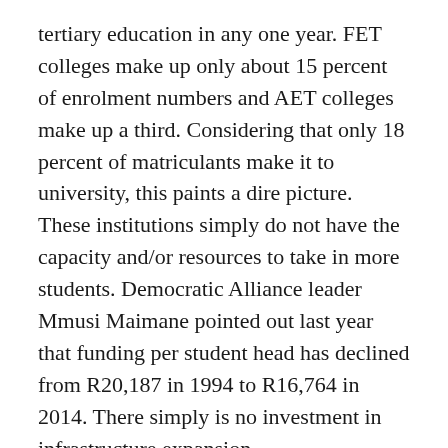tertiary education in any one year. FET colleges make up only about 15 percent of enrolment numbers and AET colleges make up a third. Considering that only 18 percent of matriculants make it to university, this paints a dire picture. These institutions simply do not have the capacity and/or resources to take in more students. Democratic Alliance leader Mmusi Maimane pointed out last year that funding per student head has declined from R20,187 in 1994 to R16,764 in 2014. There simply is no investment in infrastructure expansion.
The majority of South Africans do not even get the chance to study further. We either don’t have the means (the middle class is deemed to earn between R1,400 and R10,000 per month according to the 2012 Goldman Sachs report on the state of South